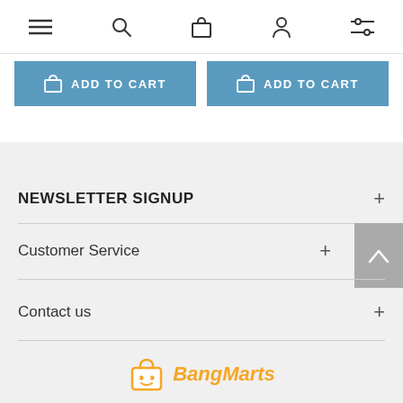Navigation bar with menu, search, cart, account, and filter icons
ADD TO CART (button 1)
ADD TO CART (button 2)
NEWSLETTER SIGNUP
Customer Service
Contact us
[Figure (logo): BangMarts logo with orange shopping bag icon and italic orange text 'BangMarts']